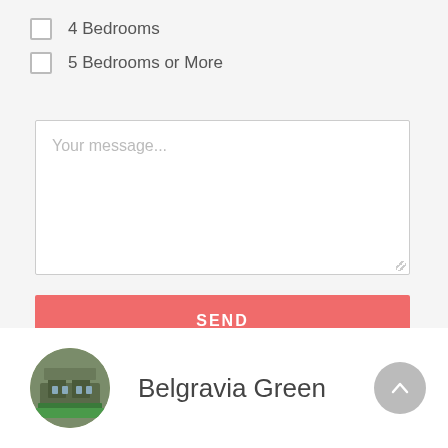4 Bedrooms
5 Bedrooms or More
Your message...
SEND
Belgravia Green